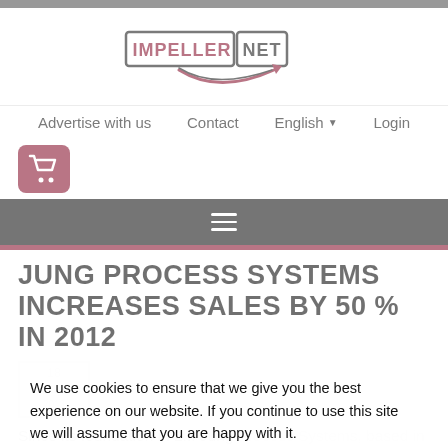[Figure (logo): IMPELLER.NET logo with stylized swoosh arrow]
Advertise with us   Contact   English ▼   Login
[Figure (illustration): Shopping cart icon in dark red rounded square]
[Figure (illustration): Hamburger menu icon on dark background bar]
JUNG PROCESS SYSTEMS INCREASES SALES BY 50 % IN 2012
We use cookies to ensure that we give you the best experience on our website. If you continue to use this site we will assume that you are happy with it.
Since its foundation in 2... Jung Process Systems, based in Kummerfeld near Hamburg, has concentrated on the engineering and marketing of HygnspIn hygienic twin screw